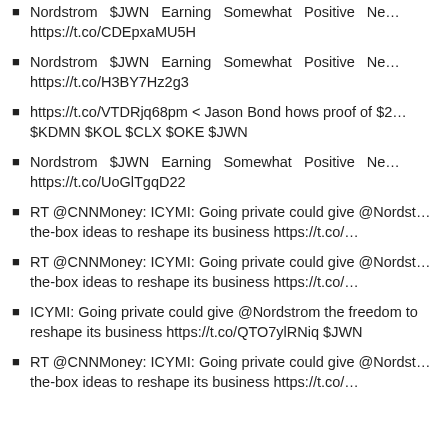Nordstrom $JWN Earning Somewhat Positive Ne… https://t.co/CDEpxaMU5H
Nordstrom $JWN Earning Somewhat Positive Ne… https://t.co/H3BY7Hz2g3
https://t.co/VTDRjq68pm &lt; Jason Bond hows proof of $2… $KDMN $KOL $CLX $OKE $JWN
Nordstrom $JWN Earning Somewhat Positive Ne… https://t.co/UoGlTgqD22
RT @CNNMoney: ICYMI: Going private could give @Nordst… the-box ideas to reshape its business https://t.co/…
RT @CNNMoney: ICYMI: Going private could give @Nordst… the-box ideas to reshape its business https://t.co/…
ICYMI: Going private could give @Nordstrom the freedom to reshape its business https://t.co/QTO7ylRNiq $JWN
RT @CNNMoney: ICYMI: Going private could give @Nordst… the-box ideas to reshape its business https://t.co/…